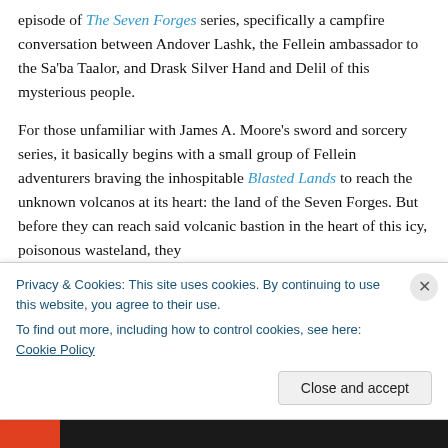episode of The Seven Forges series, specifically a campfire conversation between Andover Lashk, the Fellein ambassador to the Sa'ba Taalor, and Drask Silver Hand and Delil of this mysterious people.
For those unfamiliar with James A. Moore's sword and sorcery series, it basically begins with a small group of Fellein adventurers braving the inhospitable Blasted Lands to reach the unknown volcanos at its heart: the land of the Seven Forges. But before they can reach said volcanic bastion in the heart of this icy, poisonous wasteland, they
Privacy & Cookies: This site uses cookies. By continuing to use this website, you agree to their use.
To find out more, including how to control cookies, see here: Cookie Policy